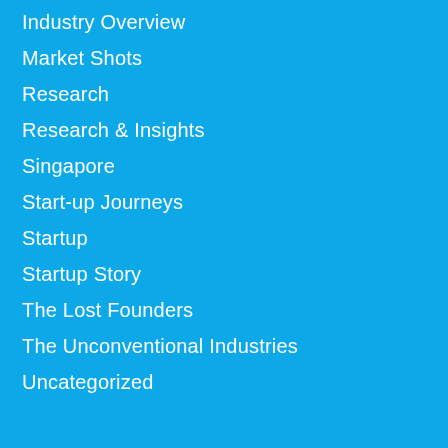Industry Overview
Market Shots
Research
Research & Insights
Singapore
Start-up Journeys
Startup
Startup Story
The Lost Founders
The Unconventional Industries
Uncategorized